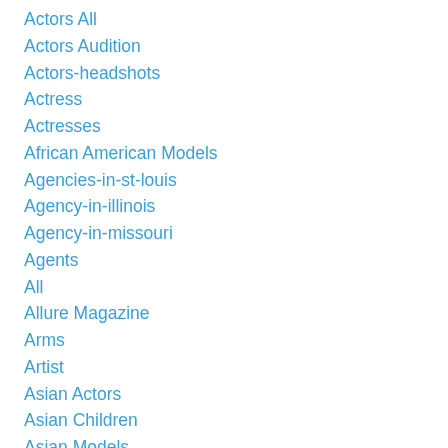Actors All
Actors Audition
Actors-headshots
Actress
Actresses
African American Models
Agencies-in-st-louis
Agency-in-illinois
Agency-in-missouri
Agents
All
Allure Magazine
Arms
Artist
Asian Actors
Asian Children
Asian Models
Athletic-build-models
Athletic Models
At-home-workout
Audition